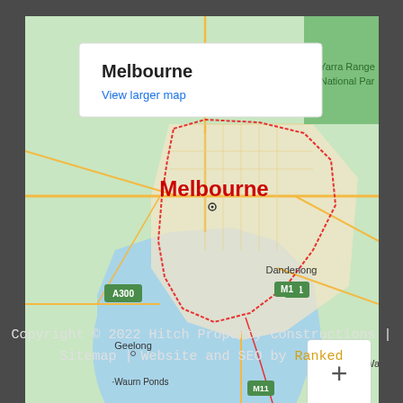[Figure (map): Google Maps screenshot showing Melbourne, Australia and surrounding region including Dandenong, Geelong, Waurn Ponds, Torquay, Yarra Range National Park. Shows highway labels A300, M1, M11, M420, A440. Includes zoom controls (+/-), Google logo, satellite thumbnail inset, and footer bar with 'Keyboard shortcuts | Map data ©2022 Google | Terms of Use'. A white tooltip box shows 'Melbourne' in bold and 'View larger map' in blue.]
Copyright © 2022 Hitch Property Constructions | Sitemap | Website and SEO by Ranked